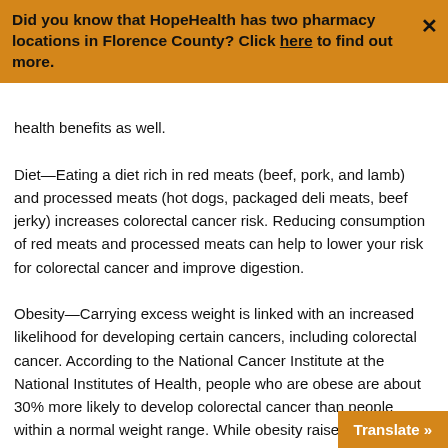Did you know that HopeHealth has two pharmacy locations in Florence County? Click here to find out more.
health benefits as well.
Diet—Eating a diet rich in red meats (beef, pork, and lamb) and processed meats (hot dogs, packaged deli meats, beef jerky) increases colorectal cancer risk. Reducing consumption of red meats and processed meats can help to lower your risk for colorectal cancer and improve digestion.
Obesity—Carrying excess weight is linked with an increased likelihood for developing certain cancers, including colorectal cancer. According to the National Cancer Institute at the National Institutes of Health, people who are obese are about 30% more likely to develop colorectal cancer than people within a normal weight range. While obesity raises the risk for both men and women, the connection appears stronger in men.
Make dietary changes to include more fiber, found in fruits, vegetables, and whole grains, lean meats, like chicken and fish, and plant-based proteins such as beans, peas, and legumes. Along